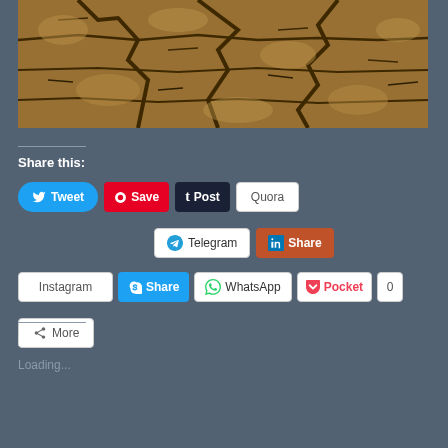[Figure (photo): Close-up photograph of cracked, dry earth/soil with deep fissures showing drought or arid conditions]
Share this:
[Figure (screenshot): Social media sharing buttons: Tweet, Save, Post, Quora, Telegram, Share (LinkedIn), Instagram, Share (Skype), WhatsApp, Pocket (0), More]
Like this:
Loading...